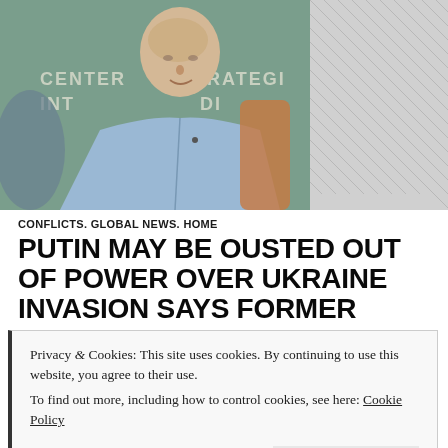[Figure (photo): A bald man in a light blue shirt seated in a chair at what appears to be a panel event at the Center for Strategic and International Studies (CSIS). The background shows a banner reading 'CENTER FOR STRATEGIC INTERNATIONAL STUDIES'. The right portion of the image is a gray hatched area.]
CONFLICTS. GLOBAL NEWS. HOME
PUTIN MAY BE OUSTED OUT OF POWER OVER UKRAINE INVASION SAYS FORMER MINISTER.
Privacy & Cookies: This site uses cookies. By continuing to use this website, you agree to their use.
To find out more, including how to control cookies, see here: Cookie Policy